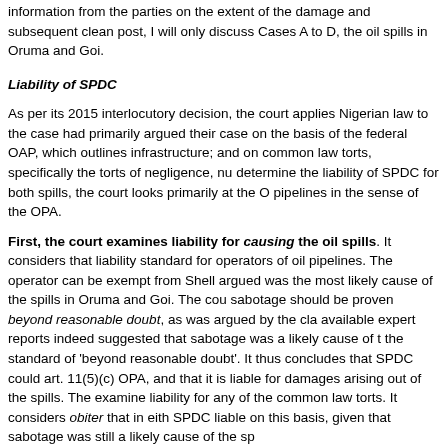information from the parties on the extent of the damage and subsequent clean post, I will only discuss Cases A to D, the oil spills in Oruma and Goi.
Liability of SPDC
As per its 2015 interlocutory decision, the court applies Nigerian law to the case had primarily argued their case on the basis of the federal OAP, which outlines infrastructure; and on common law torts, specifically the torts of negligence, nu determine the liability of SPDC for both spills, the court looks primarily at the O pipelines in the sense of the OPA.
First, the court examines liability for causing the oil spills. It considers that liability standard for operators of oil pipelines. The operator can be exempt from Shell argued was the most likely cause of the spills in Oruma and Goi. The cou sabotage should be proven beyond reasonable doubt, as was argued by the cla available expert reports indeed suggested that sabotage was a likely cause of t the standard of 'beyond reasonable doubt'. It thus concludes that SPDC could art. 11(5)(c) OPA, and that it is liable for damages arising out of the spills. The examine liability for any of the common law torts. It considers obiter that in eith SPDC liable on this basis, given that sabotage was still a likely cause of the sp
Second, regarding Shell's response to the oil spills, the court notes that art.